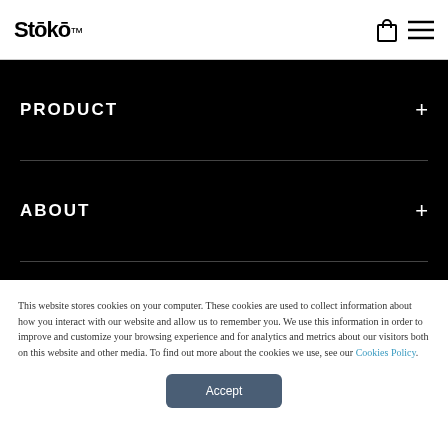Stōkō™
PRODUCT +
ABOUT +
This website stores cookies on your computer. These cookies are used to collect information about how you interact with our website and allow us to remember you. We use this information in order to improve and customize your browsing experience and for analytics and metrics about our visitors both on this website and other media. To find out more about the cookies we use, see our Cookies Policy.